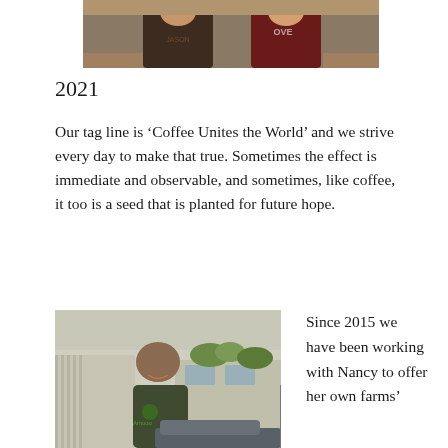[Figure (photo): Two people standing together, one in a dark brown shirt and one in a dark red/maroon shirt, indoor setting]
2021
Our tag line is ‘Coffee Unites the World’ and we strive every day to make that true. Sometimes the effect is immediate and observable, and sometimes, like coffee, it too is a seed that is planted for future hope.
[Figure (photo): A woman smiling, wearing a dark grey t-shirt with a green logo, standing outside near a building and car]
Since 2015 we have been working with Nancy to offer her own farms’